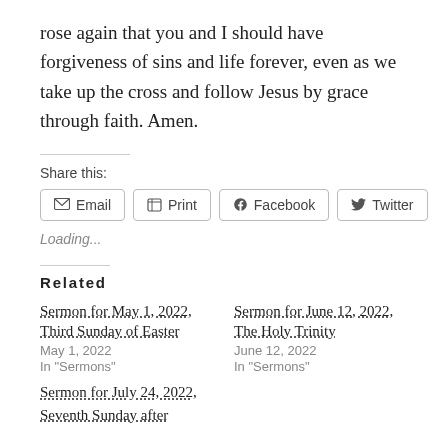rose again that you and I should have forgiveness of sins and life forever, even as we take up the cross and follow Jesus by grace through faith. Amen.
Share this:
Email  Print  Facebook  Twitter
Loading...
Related
Sermon for May 1, 2022, Third Sunday of Easter
May 1, 2022
In "Sermons"
Sermon for June 12, 2022, The Holy Trinity
June 12, 2022
In "Sermons"
Sermon for July 24, 2022, Seventh Sunday after